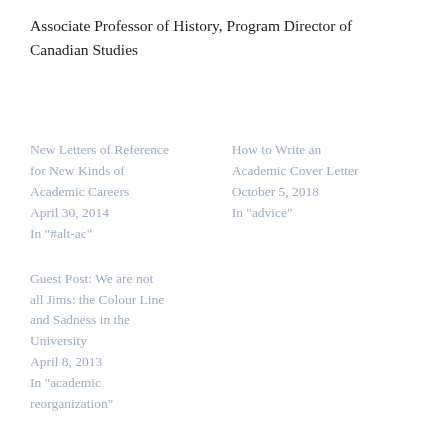Associate Professor of History, Program Director of Canadian Studies
New Letters of Reference for New Kinds of Academic Careers
April 30, 2014
In "#alt-ac"
How to Write an Academic Cover Letter
October 5, 2018
In "advice"
Guest Post: We are not all Jims: the Colour Line and Sadness in the University
April 8, 2013
In "academic reorganization"